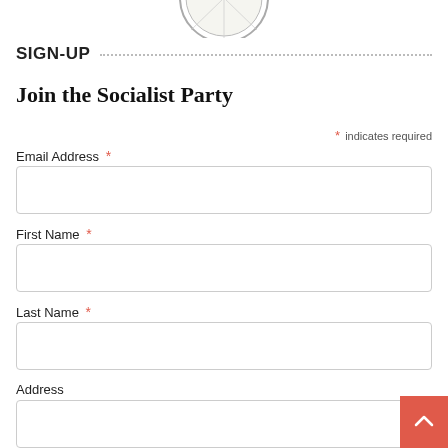[Figure (logo): Circular logo/seal at the top center of the page, partially cropped]
SIGN-UP
Join the Socialist Party
* indicates required
Email Address *
First Name *
Last Name *
Address